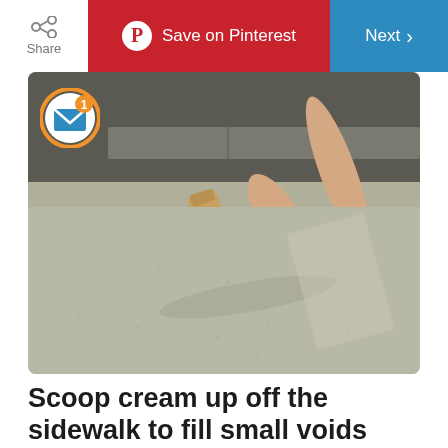Share | Save on Pinterest | Next
[Figure (photo): A person's hand using a wood-handled concrete float/trowel to smooth fresh concrete on a sidewalk surface. The image shows the tool pressing against the edge of a concrete form, with wet concrete visible.]
Scoop cream up off the sidewalk to fill small voids